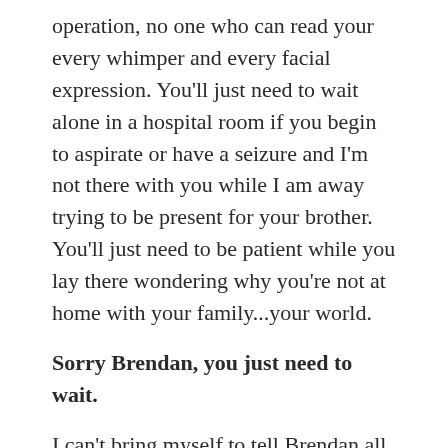operation, no one who can read your every whimper and every facial expression. You'll just need to wait alone in a hospital room if you begin to aspirate or have a seizure and I'm not there with you while I am away trying to be present for your brother. You'll just need to be patient while you lay there wondering why you're not at home with your family...your world.
Sorry Brendan, you just need to wait.
I can't bring myself to tell Brendan all of this, yet this is what I am being told. If